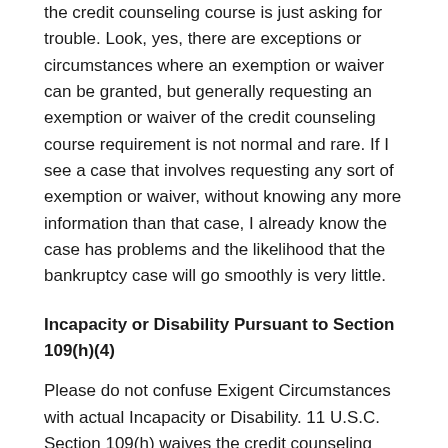the credit counseling course is just asking for trouble. Look, yes, there are exceptions or circumstances where an exemption or waiver can be granted, but generally requesting an exemption or waiver of the credit counseling course requirement is not normal and rare. If I see a case that involves requesting any sort of exemption or waiver, without knowing any more information than that case, I already know the case has problems and the likelihood that the bankruptcy case will go smoothly is very little.
Incapacity or Disability Pursuant to Section 109(h)(4)
Please do not confuse Exigent Circumstances with actual Incapacity or Disability. 11 U.S.C. Section 109(h) waives the credit counseling course requirement for someone who is incapacitated due to incapacity, disability, or active military duty in a military combat zone. The credit counseling course can then be waived only after notice and a hearing though. You must file and serve a motion, declaration in support and